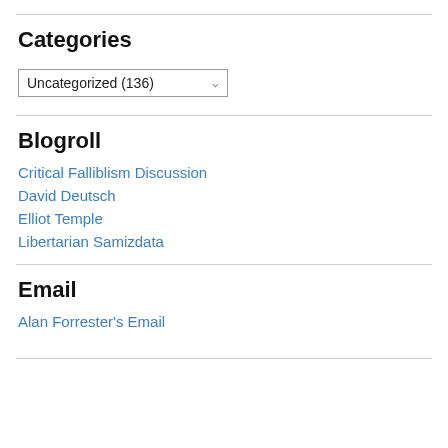Categories
[Figure (screenshot): Dropdown selector showing 'Uncategorized (136)']
Blogroll
Critical Falliblism Discussion
David Deutsch
Elliot Temple
Libertarian Samizdata
Email
Alan Forrester's Email